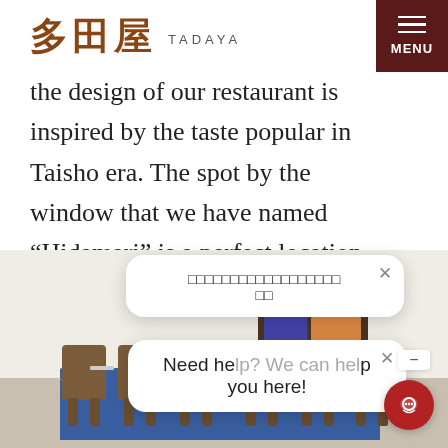多田屋 TADAYA
the design of our restaurant is inspired by the taste popular in Taisho era. The spot by the window that we have named “Hidamari” is a perfect location to catch the sunset.
[Figure (photo): Interior of Tadaya restaurant showing dining tables with blue tablecloths, wooden chairs, and stained glass windows. Two chat popup overlays are visible: one in Japanese characters and one in English reading 'Need help? We can help you here!']